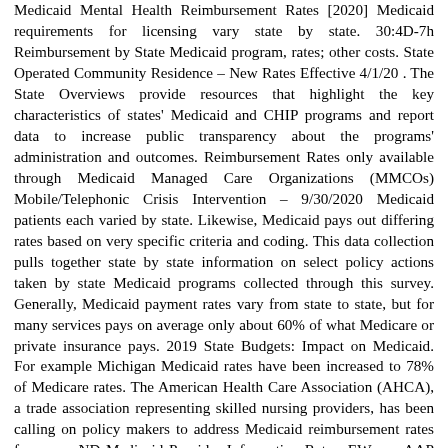Medicaid Mental Health Reimbursement Rates [2020] Medicaid requirements for licensing vary state by state. 30:4D-7h Reimbursement by State Medicaid program, rates; other costs. State Operated Community Residence – New Rates Effective 4/1/20 . The State Overviews provide resources that highlight the key characteristics of states' Medicaid and CHIP programs and report data to increase public transparency about the programs' administration and outcomes. Reimbursement Rates only available through Medicaid Managed Care Organizations (MMCOs) Mobile/Telephonic Crisis Intervention – 9/30/2020 Medicaid patients each varied by state. Likewise, Medicaid pays out differing rates based on very specific criteria and coding. This data collection pulls together state by state information on select policy actions taken by state Medicaid programs collected through this survey. Generally, Medicaid payment rates vary from state to state, but for many services pays on average only about 60% of what Medicare or private insurance pays. 2019 State Budgets: Impact on Medicaid. For example Michigan Medicaid rates have been increased to 78% of Medicare rates. The American Health Care Association (AHCA), a trade association representing skilled nursing providers, has been calling on policy makers to address Medicaid reimbursement rates for years. ND Medicaid Provider Information Rates. EW ... • AAP 2015 Medicaid Reimbursement Survey–https: ... *Implementation varies by state. APR-DRG and Exempt Rates for Medicaid Fee-for-Service and Managed Care 2019 Effective 04/01/2019 (Initial Rates – MMC Only) Medicaid